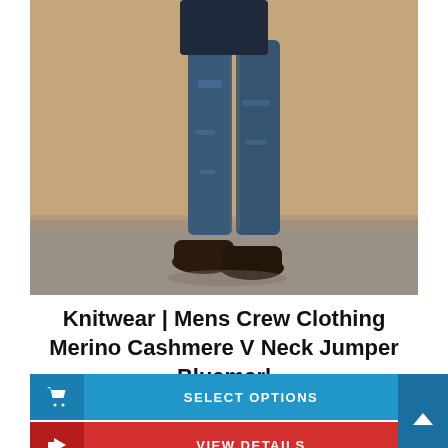[Figure (photo): A man wearing dark blue jeans, a dark blue/navy knit sweater (only lower body visible), and dark brown suede chukka boots, standing against a tan/beige background with a grey concrete floor.]
Knitwear | Mens Crew Clothing Merino Cashmere V Neck Jumper Bluemarl
SELECT OPTIONS
VIEW DETAILS